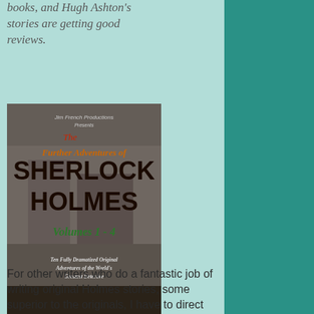books, and Hugh Ashton's stories are getting good reviews.
[Figure (photo): Book cover for 'The Further Adventures of Sherlock Holmes Volumes 1-4' by Jim French Productions. Features gothic lettering on a dark atmospheric street background. Text reads: Jim French Productions Presents / The / Further Adventures of / SHERLOCK / HOLMES / Volumes 1-4 / Ten Fully Dramatized Original Adventures of the World's Greatest Detective]
For other writers who do a fantastic job of writing original Holmes stories, some superior to the originals, I have to direct you to the fantastic audio dramas by the folks at IMAGINATION THEATRE. Jim French with wife Pat French since 1952 have been